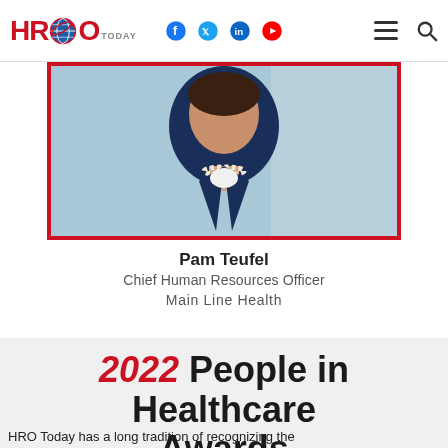HRO Today — navigation bar with social icons (Facebook, Twitter, LinkedIn, YouTube), menu and search
[Figure (photo): Portrait photo of Pam Teufel in a navy blazer with pearl necklace, framed in a red border]
Pam Teufel
Chief Human Resources Officer
Main Line Health
2022 People in Healthcare Awards
HRO Today has a long tradition of recognizing the